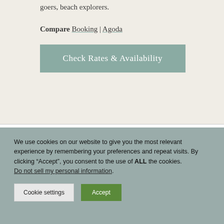goers, beach explorers.
Compare Booking | Agoda
Check Rates & Availability
We use cookies on our website to give you the most relevant experience by remembering your preferences and repeat visits. By clicking “Accept”, you consent to the use of ALL the cookies. Do not sell my personal information.
Cookie settings
Accept